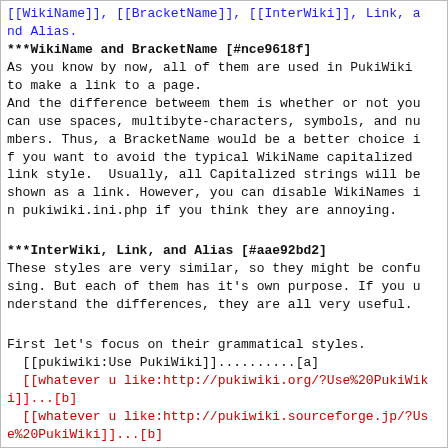[[WikiName]], [[BracketName]], [[InterWiki]], Link, and Alias.
***WikiName and BracketName [#nce9618f]
As you know by now, all of them are used in PukiWiki to make a link to a page.
And the difference betweem them is whether or not you can use spaces, multibyte-characters, symbols, and numbers. Thus, a BracketName would be a better choice if you want to avoid the typical WikiName capitalized link style.  Usually, all Capitalized strings will be shown as a link. However, you can disable WikiNames in pukiwiki.ini.php if you think they are annoying.
***InterWiki, Link, and Alias [#aae92bd2]
These styles are very similar, so they might be confusing. But each of them has it's own purpose. If you understand the differences, they are all very useful.
First let's focus on their grammatical styles.
 [[pukiwiki:Use PukiWiki]]..........[a]
 [[whatever u like:http://pukiwiki.org/?Use%20PukiWiki]]...[b]
 [[whatever u like:http://pukiwiki.sourceforge.jp/?Use%20PukiWiki]]...[b]
 [[Another Name>Text Formatting Rule]]......[c]
[a] is an InterWiki styled link. And [b] is a Link styled link.
Finaly, both of them will direct us the same page: http://pukiwiki.org/?Use%20PukiWiki